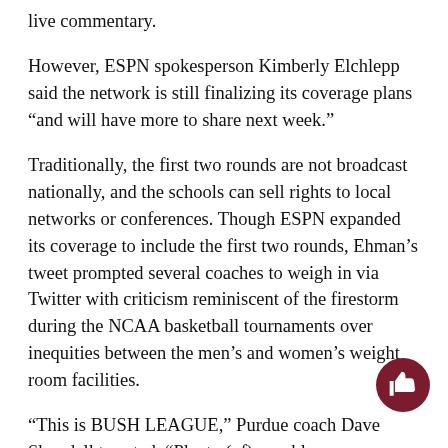live commentary.
However, ESPN spokesperson Kimberly Elchlepp said the network is still finalizing its coverage plans “and will have more to share next week.”
Traditionally, the first two rounds are not broadcast nationally, and the schools can sell rights to local networks or conferences. Though ESPN expanded its coverage to include the first two rounds, Ehman’s tweet prompted several coaches to weigh in via Twitter with criticism reminiscent of the firestorm during the NCAA basketball tournaments over inequities between the men’s and women’s weight room facilities.
“This is BUSH LEAGUE,” Purdue coach Dave Shondell tweeted. “Plenty (of) capable commentators happy to do the work for free. Let’s get organized.”
Booth tweeted: “This is not acceptable — and there is